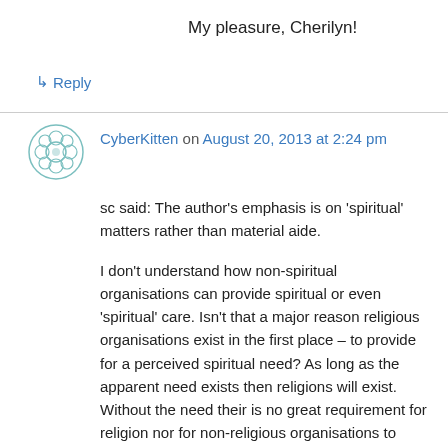My pleasure, Cherilyn!
↳ Reply
CyberKitten on August 20, 2013 at 2:24 pm
sc said: The author's emphasis is on 'spiritual' matters rather than material aide.

I don't understand how non-spiritual organisations can provide spiritual or even 'spiritual' care. Isn't that a major reason religious organisations exist in the first place – to provide for a perceived spiritual need? As long as the apparent need exists then religions will exist. Without the need their is no great requirement for religion nor for non-religious organisations to